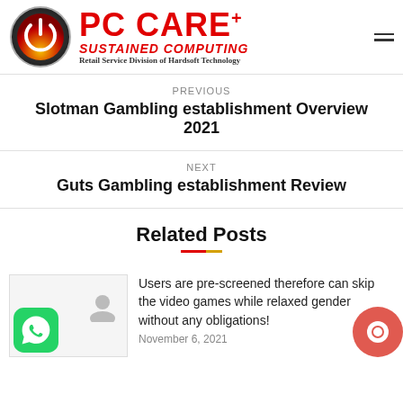[Figure (logo): PC Care+ logo: circular power button icon with red/orange/yellow gradient on dark background, followed by 'PC CARE+' in red bold font, 'SUSTAINED COMPUTING' in red italic, 'Retail Service Division of Hardsoft Technology' in black serif]
PREVIOUS
Slotman Gambling establishment Overview 2021
NEXT
Guts Gambling establishment Review
Related Posts
Users are pre-screened therefore can skip the video games while relaxed gender without any obligations!
November 6, 2021